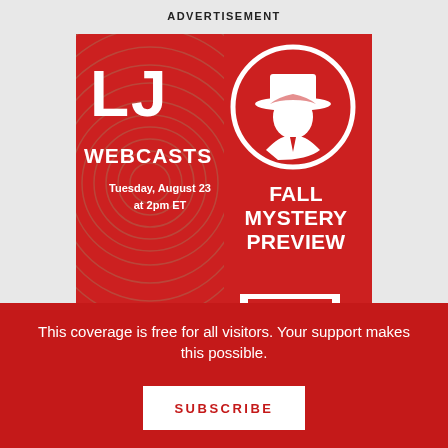ADVERTISEMENT
[Figure (illustration): LJ Webcasts Fall Mystery Preview advertisement. Red background with fingerprint pattern on left side. White text reads 'LJ WEBCASTS Tuesday, August 23 at 2pm ET'. Right side shows a white circle with a detective silhouette wearing a hat. Below detective: 'FALL MYSTERY PREVIEW' in bold white text with bracket decoration.]
This coverage is free for all visitors. Your support makes this possible.
SUBSCRIBE